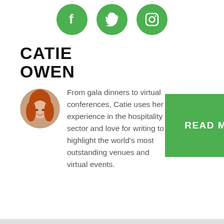[Figure (illustration): Three green circular social media icons: Facebook (f), Twitter (bird), Instagram (camera outline)]
CATIE OWEN
[Figure (photo): Circular profile photo of a woman with red hair, smiling]
From gala dinners to virtual conferences, Catie uses her experience in the hospitality sector and love for writing to highlight the world's most outstanding venues and virtual events.
[Figure (other): Green button with white text reading 'READ MORE']